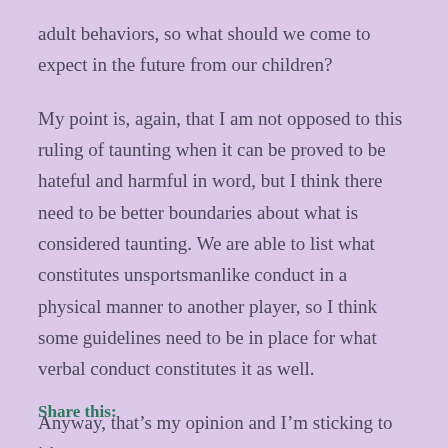adult behaviors, so what should we come to expect in the future from our children?
My point is, again, that I am not opposed to this ruling of taunting when it can be proved to be hateful and harmful in word, but I think there need to be better boundaries about what is considered taunting. We are able to list what constitutes unsportsmanlike conduct in a physical manner to another player, so I think some guidelines need to be in place for what verbal conduct constitutes it as well.
Anyway, that’s my opinion and I’m sticking to it!
Share this: